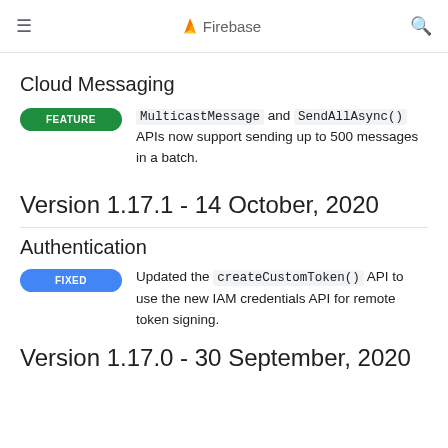Firebase
Cloud Messaging
FEATURE — MulticastMessage and SendAllAsync() APIs now support sending up to 500 messages in a batch.
Version 1.17.1 - 14 October, 2020
Authentication
FIXED — Updated the createCustomToken() API to use the new IAM credentials API for remote token signing.
Version 1.17.0 - 30 September, 2020